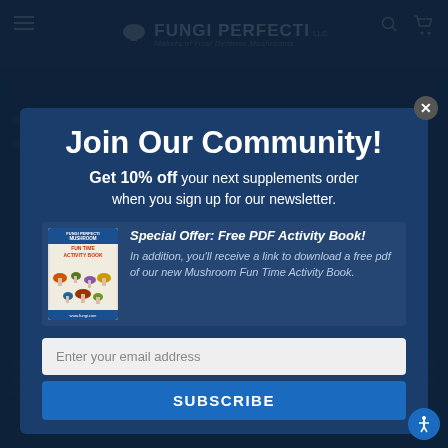FUNGI PERFECTI LLC
Join Our Community!
Get 10% off your next supplements order when you sign up for our newsletter.
[Figure (illustration): Book cover of Fungi Perfecti Mushroom Fun Time Activity Book with mushroom illustrations]
Special Offer: Free PDF Activity Book! In addition, you'll receive a link to download a free pdf of our new Mushroom Fun Time Activity Book.
Enter your email address
SUBSCRIBE